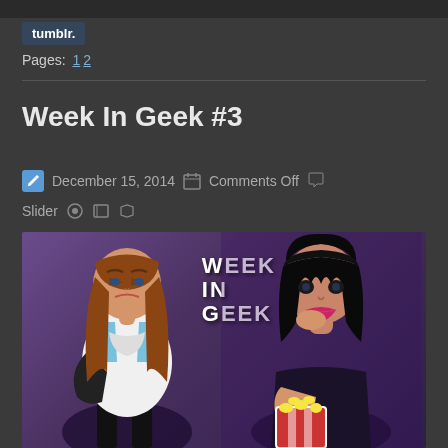[Figure (logo): Tumblr logo button, dark blue rounded rectangle with white text 'tumblr.']
Pages: 1 2
Week In Geek #3
December 15, 2014   Comments Off   Slider
[Figure (photo): Week In Geek banner image showing a comic book female character on the left with brown hair in a white costume, and a real woman with black hair eating popcorn on the right, with 'WEEK IN GEEK' text in the center, purple background]